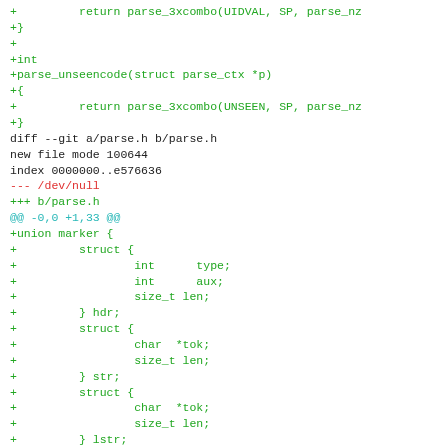diff --git snippet showing parse_unseencode, parse.h new file, and union marker struct definition in C
[Figure (screenshot): Git diff output showing added C code: parse_3xcombo(UIDVAL), parse_unseencode function, new parse.h file with union marker struct containing hdr, str, lstr, and struct with iob fields]